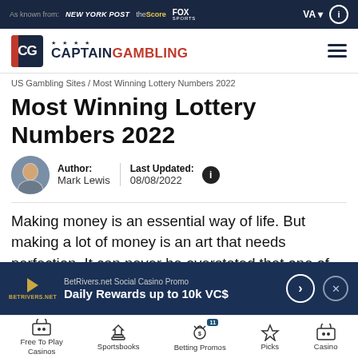As known from: NEW YORK POST | theScore | FOX SPORTS | VA | i
[Figure (logo): CaptainGambling logo with CG shield icon and hamburger menu]
US Gambling Sites / Most Winning Lottery Numbers 2022
Most Winning Lottery Numbers 2022
Author: Mark Lewis | Last Updated: 08/08/2022
Making money is an essential way of life. But making a lot of money is an art that needs perfection. It can never be overstated that one of the fastest and easiest ways of making lots of money is by involving in the playing of
[Figure (infographic): BetRivers.net Social Casino Promo banner: Daily Rewards up to 10k VC$]
Free To Play Casinos | Sportsbooks | Betting Promos | Picks | Casino